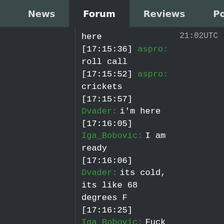Home | News | Forum | Reviews | Podcast
here   21:02UTC
[17:15:36] aspro: roll call
[17:15:52] aspro: crickets
[17:15:57] Dvader: i'm here
[17:16:05] Iga_Bobovic: I am ready
[17:16:06] Dvader: its cold, its like 68 degrees F
[17:16:25] Iga_Bobovic: Fuck you
[17:16:25]